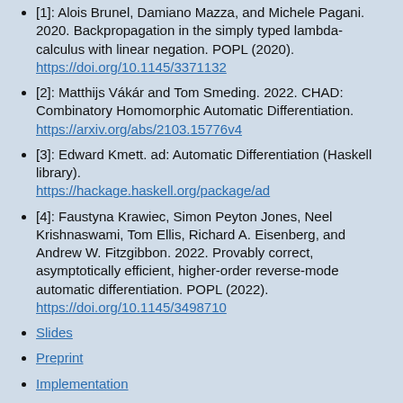[1]: Alois Brunel, Damiano Mazza, and Michele Pagani. 2020. Backpropagation in the simply typed lambda-calculus with linear negation. POPL (2020). https://doi.org/10.1145/3371132
[2]: Matthijs Vákár and Tom Smeding. 2022. CHAD: Combinatory Homomorphic Automatic Differentiation. https://arxiv.org/abs/2103.15776v4
[3]: Edward Kmett. ad: Automatic Differentiation (Haskell library). https://hackage.haskell.org/package/ad
[4]: Faustyna Krawiec, Simon Peyton Jones, Neel Krishnaswami, Tom Ellis, Richard A. Eisenberg, and Andrew W. Fitzgibbon. 2022. Provably correct, asymptotically efficient, higher-order reverse-mode automatic differentiation. POPL (2022). https://doi.org/10.1145/3498710
Slides
Preprint
Implementation
Fabio Zanasi
A Lens-Theoretic Approach to Machine Learning
I will present recent work (joint with G. Cruttwell, B. Gavranovic, N. Ghani, and R. Wilson) on developing